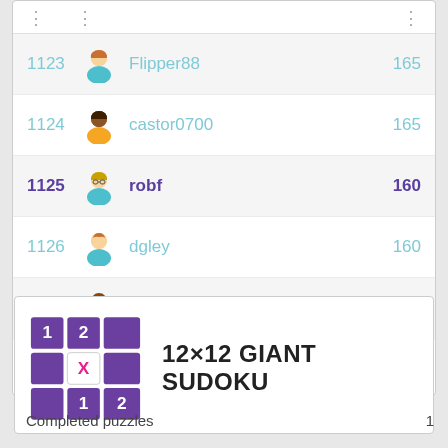| Rank | Avatar | Name | Score |
| --- | --- | --- | --- |
| 1123 |  | Flipper88 | 165 |
| 1124 |  | castor0700 | 165 |
| 1125 |  | robf | 160 |
| 1126 |  | dgley | 160 |
| 1127 |  | natashajayne | 160 |
View full table
[Figure (logo): 12x12 Giant Sudoku game icon - purple grid with numbers 1, 2, X]
12×12 GIANT SUDOKU
Completed puzzles	1